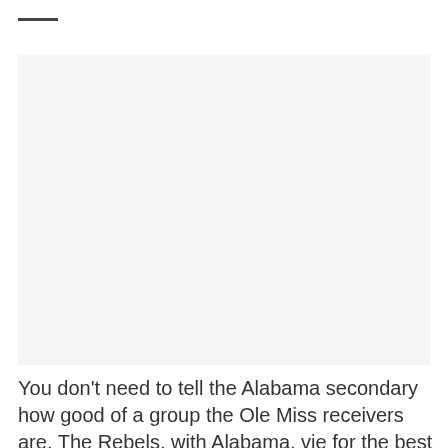—
[Figure (photo): A large image placeholder area with light gray background, likely a sports photograph (Ole Miss receivers / Alabama secondary).]
You don't need to tell the Alabama secondary how good of a group the Ole Miss receivers are. The Rebels, with Alabama, vie for the best wide receiving